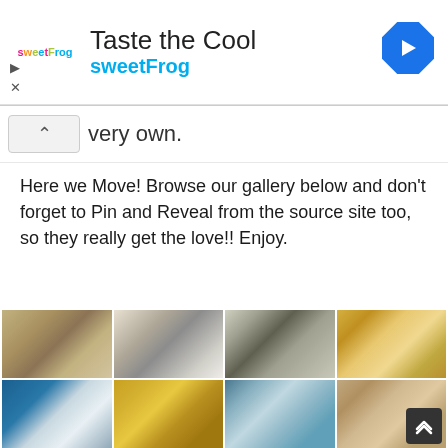[Figure (screenshot): SweetFrog advertisement banner with logo, 'Taste the Cool' headline, 'sweetFrog' brand name in blue, and a blue direction arrow icon on the right]
very own.
Here we Move! Browse our gallery below and don't forget to Pin and Reveal from the source site too, so they really get the love!! Enjoy.
[Figure (photo): Gallery of 8 photos showing seashell and mirror DIY craft projects arranged in a 4x2 grid]